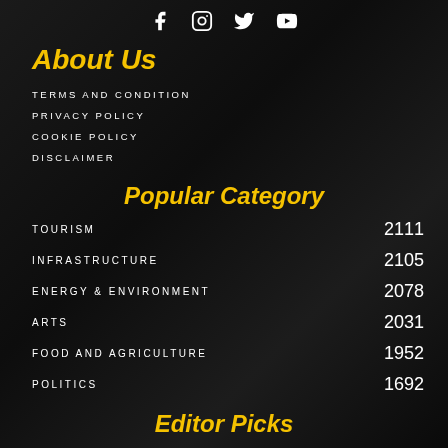f  Instagram  Twitter  YouTube
About Us
TERMS AND CONDITION
PRIVACY POLICY
COOKIE POLICY
DISCLAIMER
Popular Category
TOURISM  2111
INFRASTRUCTURE  2105
ENERGY & ENVIRONMENT  2078
ARTS  2031
FOOD AND AGRICULTURE  1952
POLITICS  1692
Editor Picks